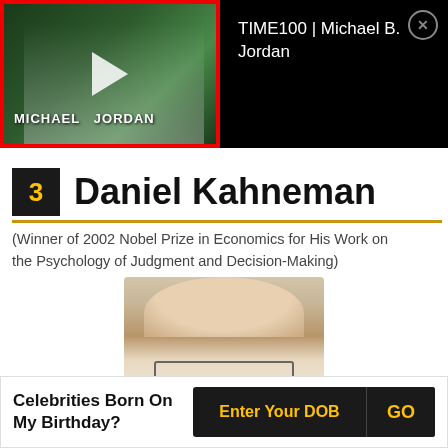[Figure (screenshot): Video thumbnail showing Michael B. Jordan TIME100 video with red border and play button overlay]
TIME100 | Michael B. Jordan
3  Daniel Kahneman
(Winner of 2002 Nobel Prize in Economics for His Work on the Psychology of Judgment and Decision-Making)
[Figure (photo): Photo of Daniel Kahneman, elderly man with white hair and glasses]
Celebrities Born On My Birthday?  Enter Your DOB  GO